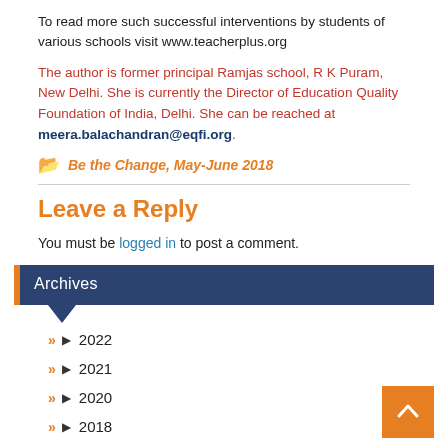To read more such successful interventions by students of various schools visit www.teacherplus.org
The author is former principal Ramjas school, R K Puram, New Delhi. She is currently the Director of Education Quality Foundation of India, Delhi. She can be reached at meera.balachandran@eqfi.org.
Be the Change, May-June 2018
Leave a Reply
You must be logged in to post a comment.
Archives
2022
2021
2020
2018